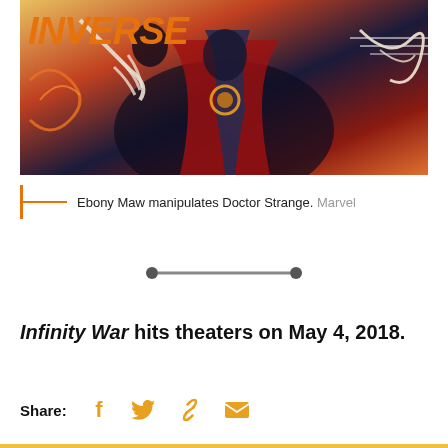[Figure (illustration): Comic book illustration showing Ebony Maw manipulating Doctor Strange, with the INVERSE logo overlaid in orange italic text at the top left. Colorful superhero comic art with orange, red, dark blue and white energy effects.]
Ebony Maw manipulates Doctor Strange. Marvel
[Figure (infographic): Horizontal divider made of two filled circles connected by a horizontal line, used as a section separator.]
Infinity War hits theaters on May 4, 2018.
Share: [Facebook icon] [Twitter icon] [Link icon] [Email icon]